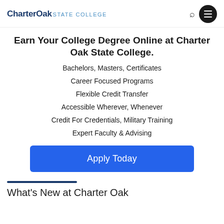CharterOak STATE COLLEGE
Earn Your College Degree Online at Charter Oak State College.
Bachelors, Masters, Certificates
Career Focused Programs
Flexible Credit Transfer
Accessible Wherever, Whenever
Credit For Credentials, Military Training
Expert Faculty & Advising
Apply Today
What's New at Charter Oak